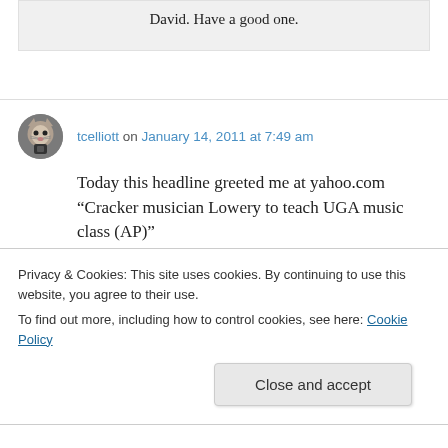David. Have a good one.
tcelliott on January 14, 2011 at 7:49 am
Today this headline greeted me at yahoo.com “Cracker musician Lowery to teach UGA music class (AP)”
Privacy & Cookies: This site uses cookies. By continuing to use this website, you agree to their use.
To find out more, including how to control cookies, see here: Cookie Policy
Close and accept
speaking of crackers, they name dropped you on